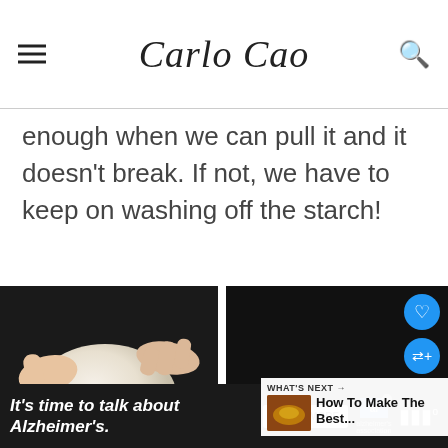Carlo Cao
enough when we can pull it and it doesn't break. If not, we have to keep on washing off the starch!
[Figure (photo): Hands holding a smooth dough ball in a dark bowl]
[Figure (photo): Hands stretching and pulling apart washed dough in a dark bowl, with heart and share buttons, and a 'What's Next - How To Make The Best...' widget]
It's time to talk about Alzheimer's.